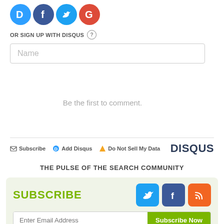[Figure (logo): Four social login icons: Disqus (blue D), Facebook (dark blue f), Twitter (light blue bird), Google (red G), all circular]
OR SIGN UP WITH DISQUS ?
Name
Be the first to comment.
Subscribe  Add Disqus  Do Not Sell My Data
DISQUS
THE PULSE OF THE SEARCH COMMUNITY
SUBSCRIBE
Enter Email Address
Subscribe Now
SUBSCRIBE OPTIONS